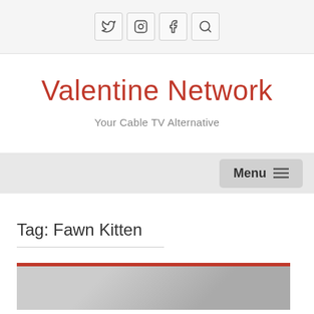[Figure (screenshot): Social media icon buttons: Twitter, Instagram, Facebook, Search in a light gray header bar]
Valentine Network
Your Cable TV Alternative
[Figure (screenshot): Navigation bar with Menu button and hamburger icon on the right side]
Tag: Fawn Kitten
[Figure (photo): Partial photo thumbnail with red top border, showing beginning of an image]